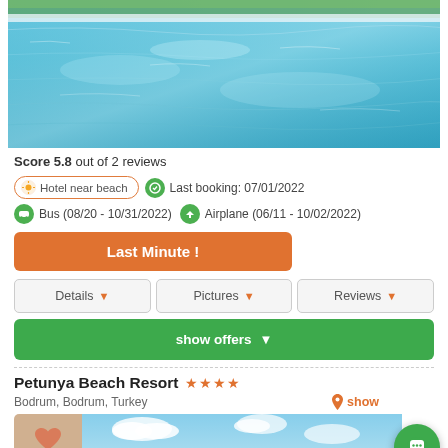[Figure (photo): Hotel swimming pool with blue water, palm trees and loungers visible at the top edge]
Score 5.8 out of 2 reviews
Hotel near beach   Last booking: 07/01/2022
Bus (08/20 - 10/31/2022)   Airplane (06/11 - 10/02/2022)
Last Minute !
Details   Pictures   Reviews
show offers
Petunya Beach Resort ★★★★
Bodrum, Bodrum, Turkey
[Figure (photo): Partial view of hotel exterior with sky background]